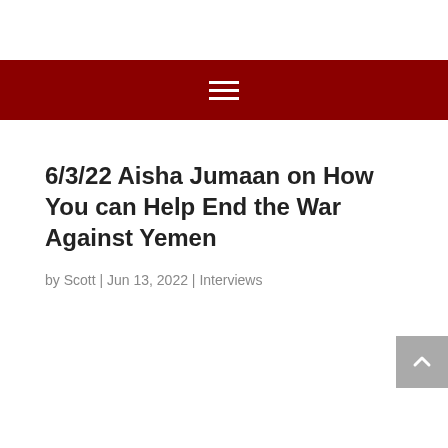6/3/22 Aisha Jumaan on How You can Help End the War Against Yemen
by Scott | Jun 13, 2022 | Interviews